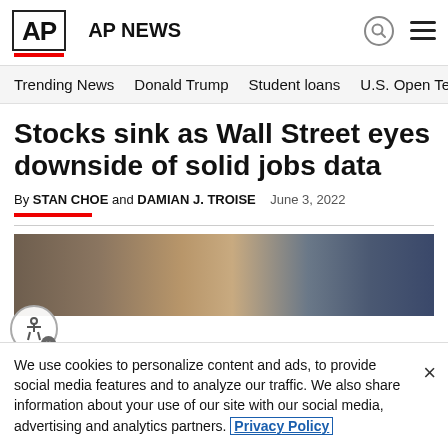AP AP NEWS
Trending News   Donald Trump   Student loans   U.S. Open Tenn
Stocks sink as Wall Street eyes downside of solid jobs data
By STAN CHOE and DAMIAN J. TROISE   June 3, 2022
[Figure (photo): Indoor photo showing what appears to be a trading floor or office environment with brown and blue tones]
We use cookies to personalize content and ads, to provide social media features and to analyze our traffic. We also share information about your use of our site with our social media, advertising and analytics partners. Privacy Policy